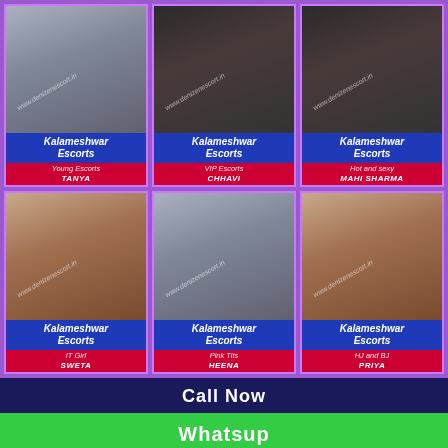[Figure (photo): Grid of 6 escort profile cards, each with a photo, blue title block reading 'Kalameshwar Escorts', and a red subtitle block with a tag and name. Top row: TANYA (Young Escorts), CHHAVI (VIP Escorts), MAHI SHARMA (Hot and sexy). Bottom row: SWETA (IT Girl), HEENA (Pink Tits), PRIYA (HJ and BJ).]
Call Now
Whatsup